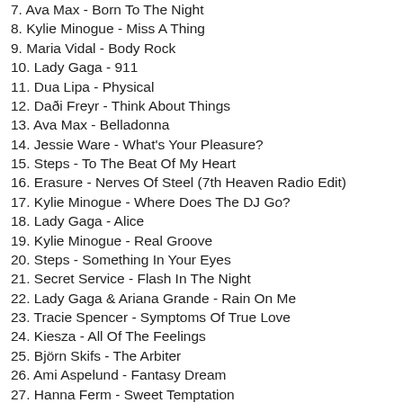7. Ava Max - Born To The Night
8. Kylie Minogue - Miss A Thing
9. Maria Vidal - Body Rock
10. Lady Gaga - 911
11. Dua Lipa - Physical
12. Daði Freyr - Think About Things
13. Ava Max - Belladonna
14. Jessie Ware - What's Your Pleasure?
15. Steps - To The Beat Of My Heart
16. Erasure - Nerves Of Steel (7th Heaven Radio Edit)
17. Kylie Minogue - Where Does The DJ Go?
18. Lady Gaga - Alice
19. Kylie Minogue - Real Groove
20. Steps - Something In Your Eyes
21. Secret Service - Flash In The Night
22. Lady Gaga & Ariana Grande - Rain On Me
23. Tracie Spencer - Symptoms Of True Love
24. Kiesza - All Of The Feelings
25. Björn Skifs - The Arbiter
26. Ami Aspelund - Fantasy Dream
27. Hanna Ferm - Sweet Temptation
28. Dua Lipa - Don't Start Now
29. Yo-La Somebody - Disco Kick